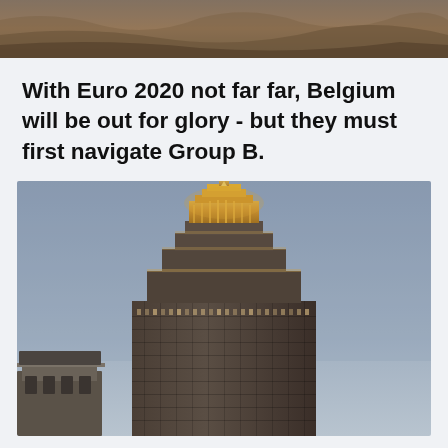[Figure (photo): Top portion of a photo showing a sandy/rocky landscape or aerial desert terrain, cropped at the top of the page]
With Euro 2020 not far far, Belgium will be out for glory - but they must first navigate Group B.
[Figure (photo): Photo of the Empire State Building at dusk/twilight, illuminated with golden lights against a blue-grey sky, with a smaller building rooftop visible in the lower left corner]